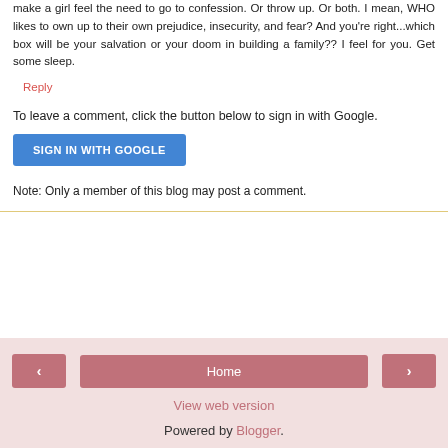make a girl feel the need to go to confession. Or throw up. Or both. I mean, WHO likes to own up to their own prejudice, insecurity, and fear? And you're right...which box will be your salvation or your doom in building a family?? I feel for you. Get some sleep.
Reply
To leave a comment, click the button below to sign in with Google.
[Figure (screenshot): Blue button labeled SIGN IN WITH GOOGLE]
Note: Only a member of this blog may post a comment.
[Figure (screenshot): Navigation bar with left arrow button, Home button, right arrow button, View web version link, and Powered by Blogger text]